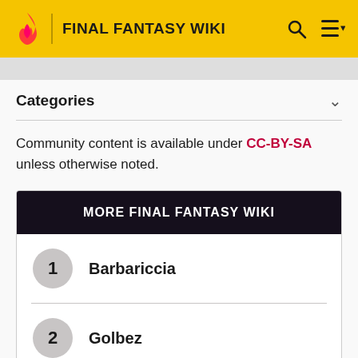FINAL FANTASY WIKI
Categories
Community content is available under CC-BY-SA unless otherwise noted.
MORE FINAL FANTASY WIKI
1 Barbariccia
2 Golbez